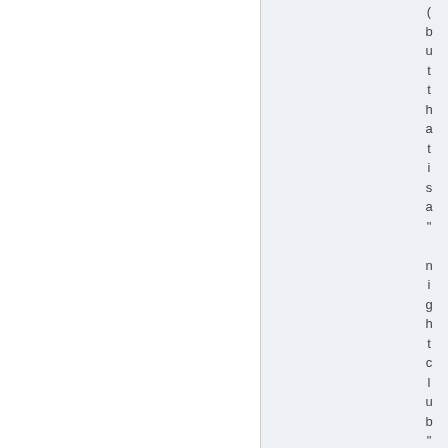(but that is a" nightclub" and not a E